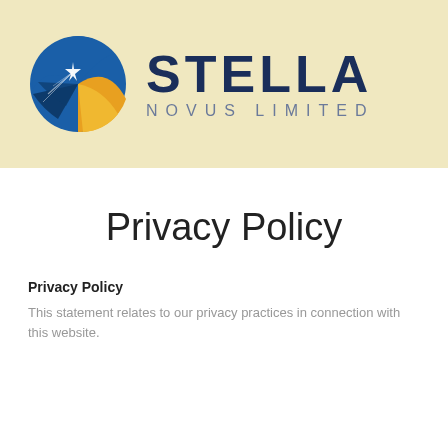[Figure (logo): Stella Novus Limited logo with circular emblem showing blue globe with star and gold arc, beside bold navy text STELLA and subtitle NOVUS LIMITED in grey]
Privacy Policy
Privacy Policy
This statement relates to our privacy practices in connection with this website.